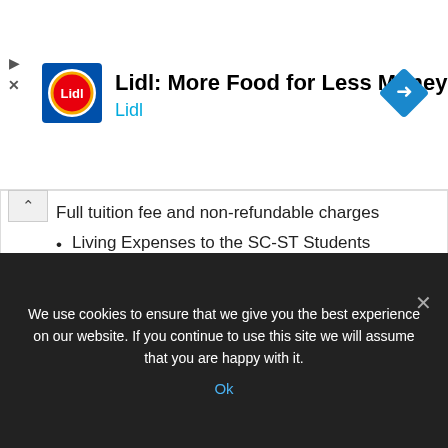[Figure (logo): Lidl advertisement banner with Lidl logo, text 'Lidl: More Food for Less Money' and 'Lidl', navigation diamond icon]
Full tuition fee and non-refundable charges
Living Expenses to the SC-ST Students
Books and Stationery
Computer with accessories like UPS, Printer, Multi-media
SC-ST Scholarships Complete LIST !!
We use cookies to ensure that we give you the best experience on our website. If you continue to use this site we will assume that you are happy with it.